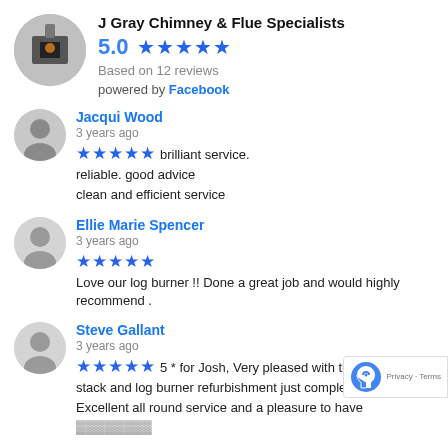J Gray Chimney & Flue Specialists
5.0 ★★★★★
Based on 12 reviews
powered by Facebook
Jacqui Wood
3 years ago
★★★★★ brilliant service. reliable. good advice clean and efficient service
Ellie Marie Spencer
3 years ago
★★★★★ Love our log burner !! Done a great job and would highly recommend .
Steve Gallant
3 years ago
★★★★★ 5 * for Josh, Very pleased with the stack and log burner refurbishment just completed. Excellent all round service and a pleasure to have...